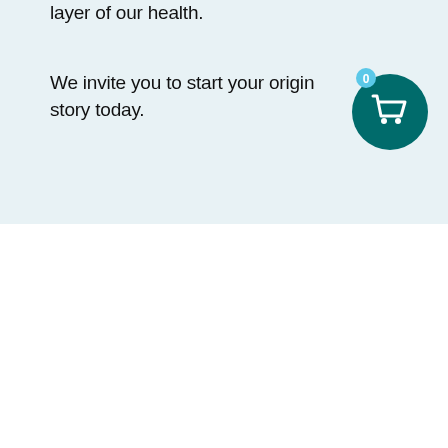layer of our health.
We invite you to start your origin story today.
[Figure (illustration): Teal shopping cart icon with a blue badge showing '0' in the top-right corner]
HMOs Have Been Featured In:
[Figure (illustration): Teal chat/message bubble icon with a red badge showing '1' in the top-right corner]